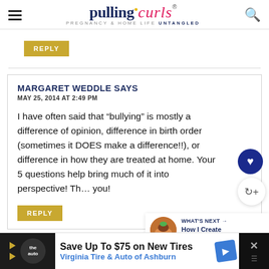pulling curls — PREGNANCY & HOME LIFE UNTANGLED
REPLY
MARGARET WEDDLE SAYS
MAY 25, 2014 AT 2:49 PM
I have often said that “bullying” is mostly a difference of opinion, difference in birth order (sometimes it DOES make a difference!!), or difference in how they are treated at home. Your 5 questions help bring much of it into perspective! Thank you!
REPLY